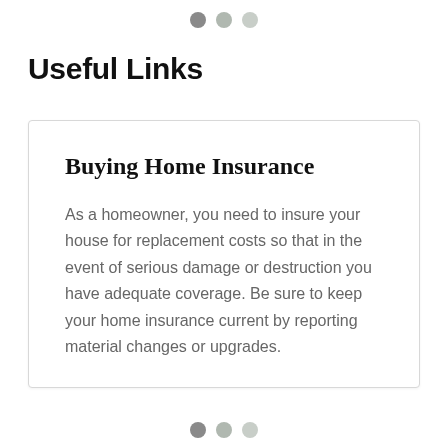[Figure (other): Three decorative dots at top of page, one dark grey, one medium grey, one light grey]
Useful Links
Buying Home Insurance
As a homeowner, you need to insure your house for replacement costs so that in the event of serious damage or destruction you have adequate coverage. Be sure to keep your home insurance current by reporting material changes or upgrades.
[Figure (other): Three decorative dots at bottom of page, one dark grey, one medium grey, one light grey]